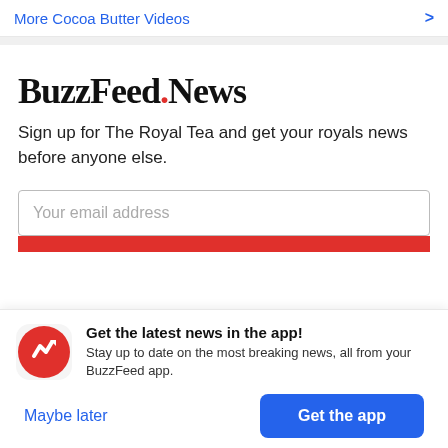More Cocoa Butter Videos >
[Figure (logo): BuzzFeed News logo with red dot between BuzzFeed and News]
Sign up for The Royal Tea and get your royals news before anyone else.
Your email address
Get the latest news in the app! Stay up to date on the most breaking news, all from your BuzzFeed app.
Maybe later
Get the app